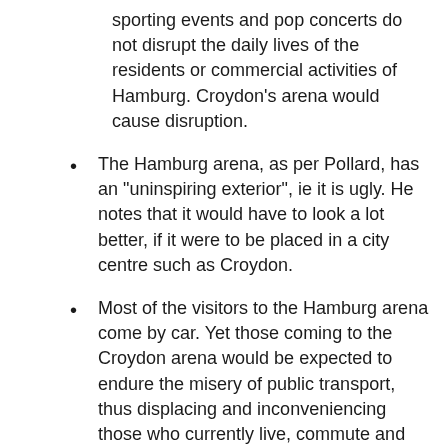sporting events and pop concerts do not disrupt the daily lives of the residents or commercial activities of Hamburg. Croydon's arena would cause disruption.
The Hamburg arena, as per Pollard, has an "uninspiring exterior", ie it is ugly. He notes that it would have to look a lot better, if it were to be placed in a city centre such as Croydon.
Most of the visitors to the Hamburg arena come by car. Yet those coming to the Croydon arena would be expected to endure the misery of public transport, thus displacing and inconveniencing those who currently live, commute and shop in Croydon.